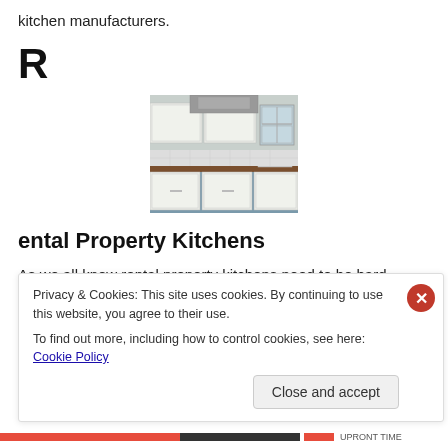kitchen manufacturers.
R
[Figure (photo): Photo of a modern rental property kitchen with white cabinets, wood countertops, and a window]
ental Property Kitchens
As we all know rental property kitchens need to be hard
Privacy & Cookies: This site uses cookies. By continuing to use this website, you agree to their use.
To find out more, including how to control cookies, see here: Cookie Policy